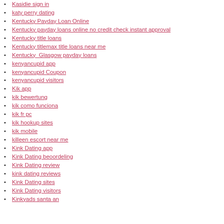Kasidie sign in
katy perry dating
Kentucky Payday Loan Online
Kentucky payday loans online no credit check instant approval
Kentucky title loans
Kentucky titlemax title loans near me
Kentucky_Glasgow payday loans
kenyancupid app
kenyancupid Coupon
kenyancupid visitors
Kik app
kik bewertung
kik como funciona
kik fr pc
kik hookup sites
kik mobile
killeen escort near me
Kink Dating app
Kink Dating beoordeling
Kink Dating review
kink dating reviews
Kink Dating sites
Kink Dating visitors
Kinkyads santa an